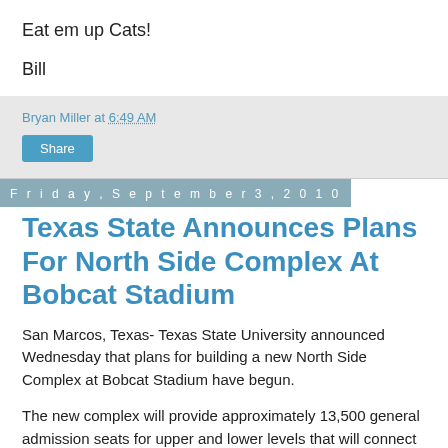Eat em up Cats!
Bill
Bryan Miller at 6:49 AM
Share
Friday, September 3, 2010
Texas State Announces Plans For North Side Complex At Bobcat Stadium
San Marcos, Texas- Texas State University announced Wednesday that plans for building a new North Side Complex at Bobcat Stadium have begun.
The new complex will provide approximately 13,500 general admission seats for upper and lower levels that will connect the existing east and west grandstands. These additional seats will bring the capacity for Bobcat Stadium to between